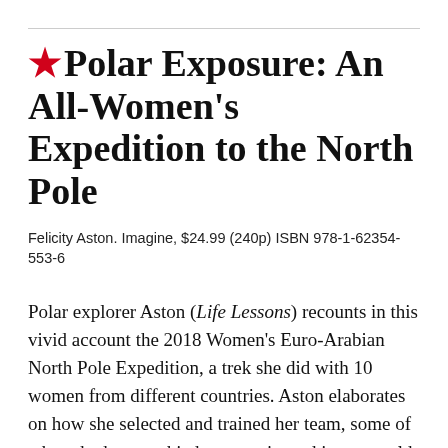★ Polar Exposure: An All-Women's Expedition to the North Pole
Felicity Aston. Imagine, $24.99 (240p) ISBN 978-1-62354-553-6
Polar explorer Aston (Life Lessons) recounts in this vivid account the 2018 Women's Euro-Arabian North Pole Expedition, a trek she did with 10 women from different countries. Aston elaborates on how she selected and trained her team, some of whom had never skied or experienced intense cold before [redacted] better and [redacted]